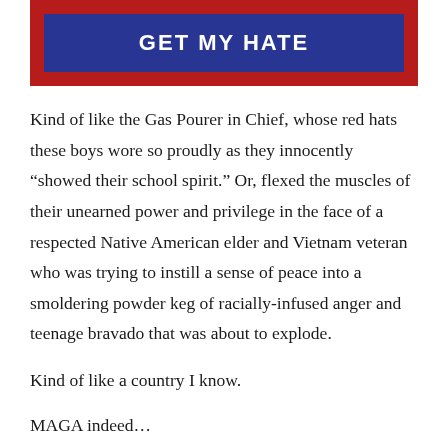[Figure (other): Red banner with blue button labeled GET MY HATE]
Kind of like the Gas Pourer in Chief, whose red hats these boys wore so proudly as they innocently “showed their school spirit.” Or, flexed the muscles of their unearned power and privilege in the face of a respected Native American elder and Vietnam veteran who was trying to instill a sense of peace into a smoldering powder keg of racially-infused anger and teenage bravado that was about to explode.
Kind of like a country I know.
MAGA indeed…